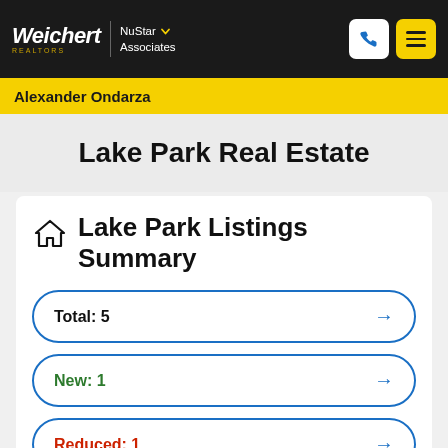Weichert | NuStar Associates
Alexander Ondarza
Lake Park Real Estate
Lake Park Listings Summary
Total: 5
New: 1
Reduced: 1